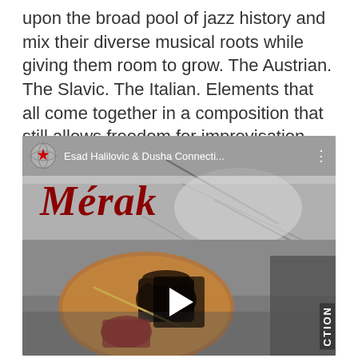upon the broad pool of jazz history and mix their diverse musical roots while giving them room to grow. The Austrian. The Slavic. The Italian. Elements that all come together in a composition that still allows freedom for improvisation.
[Figure (screenshot): YouTube video thumbnail for 'Esad Halilovic & Dusha Connecti...' showing an album titled 'Merak' in dark red italic text over a black-and-white rocky/stone background with a copper coffee set (Turkish coffee pot and tea glass on a tray) in the lower left. A play button is visible at the bottom center. Channel logo with red star is shown top left. The word 'CTION' appears vertically on the right edge.]